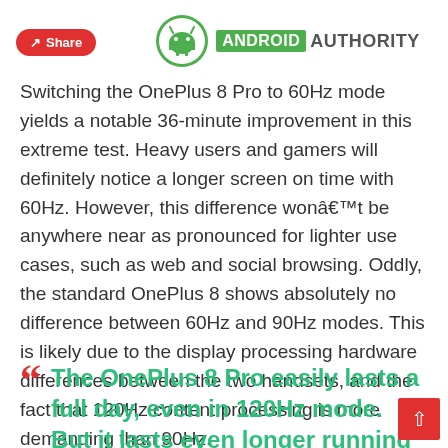Share | ANDROID AUTHORITY
Switching the OnePlus 8 Pro to 60Hz mode yields a notable 36-minute improvement in this extreme test. Heavy users and gamers will definitely notice a longer screen on time with 60Hz. However, this difference wonâ€™t be anywhere near as pronounced for lighter use cases, such as web and social browsing. Oddly, the standard OnePlus 8 shows absolutely no difference between 60Hz and 90Hz modes. This is likely due to the display processing hardware differences between the two handsets, and the fact that 120Hz content processing is more demanding than 90Hz.
The OnePlus 8 Pro easily lasts a full day, even in 120Hz mode. But it lasts even longer running at 60Hz.